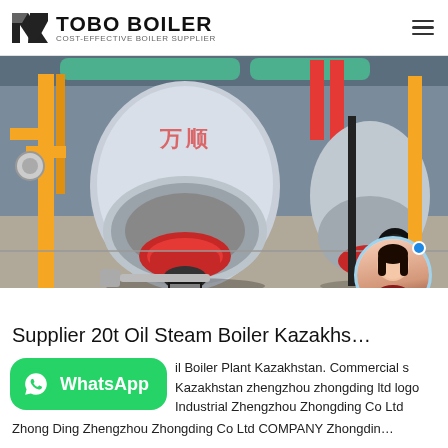TOBO BOILER — COST-EFFECTIVE BOILER SUPPLIER
[Figure (photo): Industrial boiler facility showing two large horizontal fire-tube boilers with red burner assemblies, yellow gas supply pipes, and connecting pipework in an indoor plant setting. Chinese text visible on equipment.]
Supplier 20t Oil Steam Boiler Kazakhs…
…il Boiler Plant Kazakhstan. Commercial s Kazakhstan zhengzhou zhongding ltd logo Industrial Zhengzhou Zhongding Co Ltd Zhong Ding Zhengzhou Zhongding Co Ltd COMPANY Zhongdin…